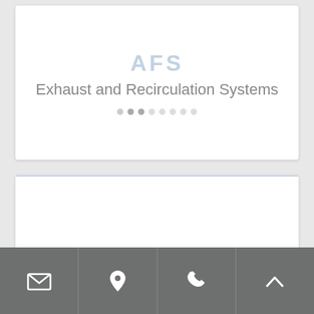[Figure (screenshot): AFS logo watermark above title 'Exhaust and Recirculation Systems' with pagination dots, shown as a white card UI panel]
[Figure (screenshot): Second white card panel below the main card, appearing mostly blank with a light blue-bordered top edge]
[Figure (infographic): Dark gray toolbar at the bottom with four icon buttons: envelope/email, location pin, phone, and chevron-up/scroll-to-top]